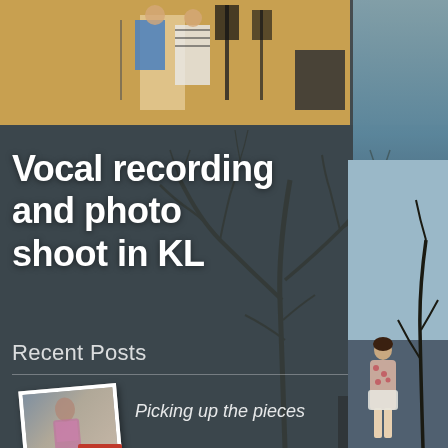[Figure (screenshot): Website/blog screenshot showing a music blog page with top photo of musicians in a recording studio, dark atmospheric background with bare tree branches, and a woman in a floral dress standing among trees on the right side.]
Vocal recording and photo shoot in KL
Recent Posts
Picking up the pieces
Why I put up this album